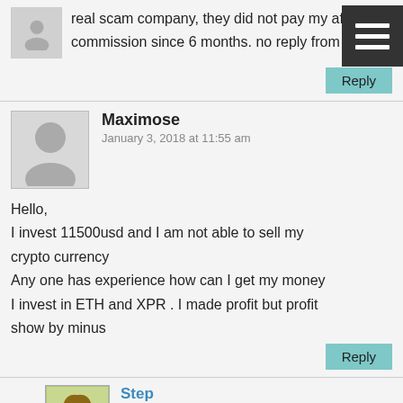real scam company, they did not pay my affiliate commission since 6 months. no reply from them
Reply
Maximose
January 3, 2018 at 11:55 am
Hello,
I invest 11500usd and I am not able to sell my crypto currency
Any one has experience how can I get my money
I invest in ETH and XPR . I made profit but profit show by minus
Reply
Step
January 3, 2018 at 8:15 pm